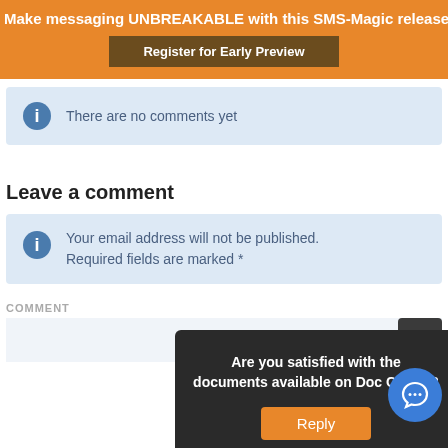Make messaging UNBREAKABLE with this SMS-Magic release
Register for Early Preview
There are no comments yet
Leave a comment
Your email address will not be published. Required fields are marked *
COMMENT
Are you satisfied with the documents available on Doc Centre?
Reply